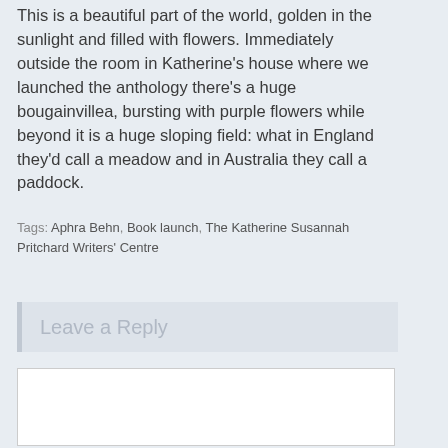This is a beautiful part of the world, golden in the sunlight and filled with flowers. Immediately outside the room in Katherine's house where we launched the anthology there's a huge bougainvillea, bursting with purple flowers while beyond it is a huge sloping field: what in England they'd call a meadow and in Australia they call a paddock.
Tags: Aphra Behn, Book launch, The Katherine Susannah Pritchard Writers' Centre
Leave a Reply